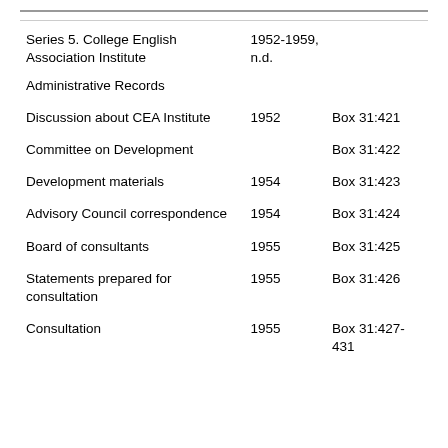|  |  |  |
| --- | --- | --- |
| Series 5. College English Association Institute | 1952-1959, n.d. |  |
| Administrative Records |  |  |
| Discussion about CEA Institute | 1952 | Box 31:421 |
| Committee on Development |  | Box 31:422 |
| Development materials | 1954 | Box 31:423 |
| Advisory Council correspondence | 1954 | Box 31:424 |
| Board of consultants | 1955 | Box 31:425 |
| Statements prepared for consultation | 1955 | Box 31:426 |
| Consultation | 1955 | Box 31:427-431 |